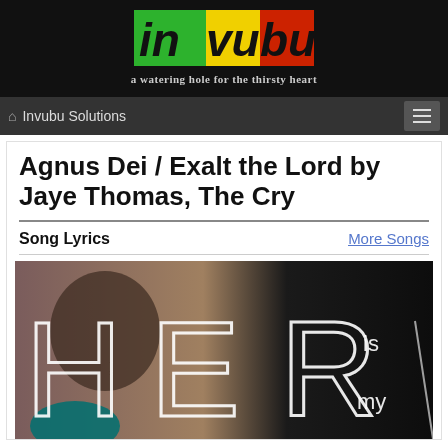[Figure (logo): Invubu logo with colored background blocks (green, yellow, red) and black text 'invubu', with tagline 'a watering hole for the thirsty heart']
Invubu Solutions
Agnus Dei / Exalt the Lord by Jaye Thomas, The Cry
Song Lyrics
More Songs
[Figure (photo): Album cover showing text 'HERE is my' overlaid on a dark background with a person's face]